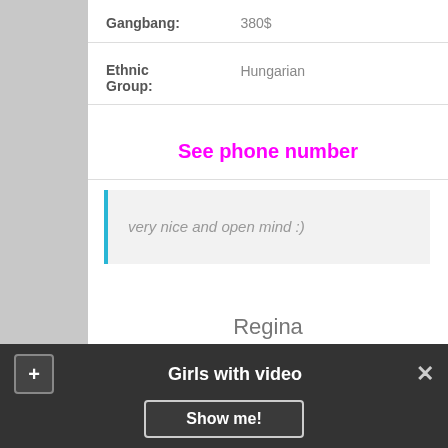Gangbang: 380$
Ethnic Group: Hungarian
See phone number
very nice and open mind :)
Regina
[Figure (photo): Blonde woman with blue background, partial head visible]
Girls with video
Show me!